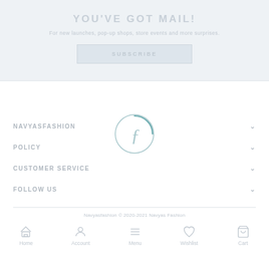YOU'VE GOT MAIL!
For new launches, pop-up shops, store events and more surprises.
SUBSCRIBE
[Figure (logo): Navyas Fashion logo — circular with stylized cursive 'f' letter inside]
NAVYASFASHION
POLICY
CUSTOMER SERVICE
FOLLOW US
Navyasfashion © 2020-2021 Navyas Fashion
Home   Account   Menu   Wishlist   Cart